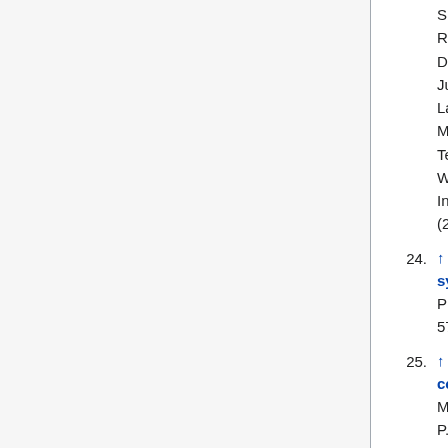Silvestri, M. Bersanelli, E. Artal, R. C. Butler, F. Cuttaia, R. J. Davis, S. Galeotta, N. Hughes, P. Jukkala, V.-H. Kilpiä, M. Laaninen, N. Mandolesi, M. Maris, L. Mendes, M. Sandri, L. Terenzi, J. Tuovinen, J. Varis, A. Wilkinson, Journal of Instrumentation, 4, 2010-+, (2009).
24. ↑ Planck 2013 results. III. Low Frequency Instrument systematic uncertainties, Planck Collaboration, 2014, A&A, 571, A3
25. ↑ Cryogenic characterization of the Planck sorption cooler system flight model, G. Morgante, D. Pearson, F. Melot, P. Stassi, L. Terenzi, P. Wilson, B.